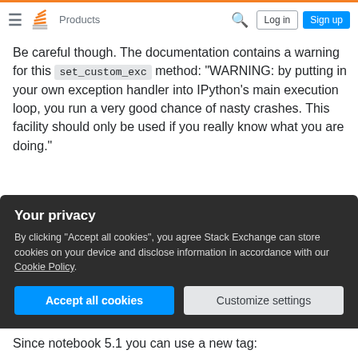≡  [Stack Overflow logo]  Products   🔍   Log in   Sign up
Be careful though. The documentation contains a warning for this set_custom_exc method: "WARNING: by putting in your own exception handler into IPython's main execution loop, you run a very good chance of nasty crashes. This facility should only be used if you really know what you are doing."
Share  Follow
answered Oct 19, 2016 at 15:38
Florian Golemo
733 ●1 ●7 ●18
Your privacy
By clicking "Accept all cookies", you agree Stack Exchange can store cookies on your device and disclose information in accordance with our Cookie Policy.
Accept all cookies   Customize settings
Since notebook 5.1 you can use a new tag: